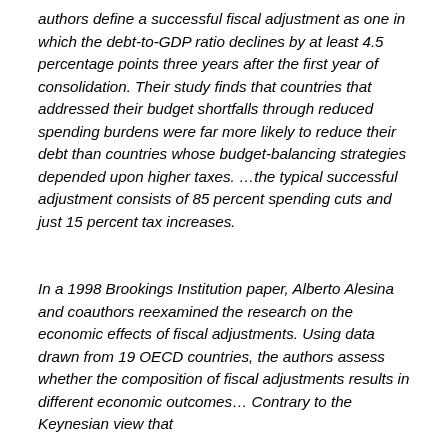authors define a successful fiscal adjustment as one in which the debt-to-GDP ratio declines by at least 4.5 percentage points three years after the first year of consolidation. Their study finds that countries that addressed their budget shortfalls through reduced spending burdens were far more likely to reduce their debt than countries whose budget-balancing strategies depended upon higher taxes. …the typical successful adjustment consists of 85 percent spending cuts and just 15 percent tax increases.
In a 1998 Brookings Institution paper, Alberto Alesina and coauthors reexamined the research on the economic effects of fiscal adjustments. Using data drawn from 19 OECD countries, the authors assess whether the composition of fiscal adjustments results in different economic outcomes… Contrary to the Keynesian view that